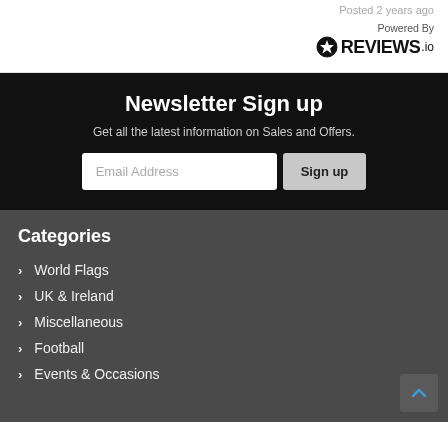Posted 2 years ago
[Figure (logo): Powered By REVIEWS.io logo with star icon]
Newsletter Sign up
Get all the latest information on Sales and Offers.
Email Address | Sign up (newsletter sign-up form)
Categories
World Flags
UK & Ireland
Miscellaneous
Football
Events & Occasions